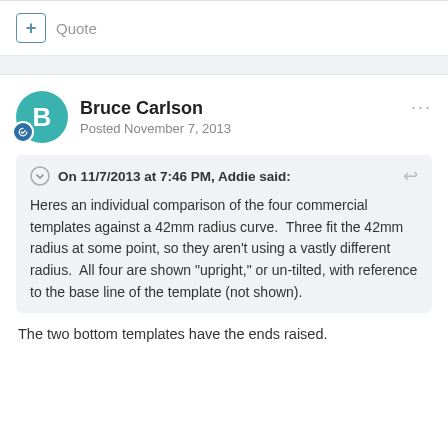+ Quote
Bruce Carlson
Posted November 7, 2013
On 11/7/2013 at 7:46 PM, Addie said:
Heres an individual comparison of the four commercial templates against a 42mm radius curve.  Three fit the 42mm radius at some point, so they aren't using a vastly different radius.  All four are shown “upright,” or un-tilted, with reference to the base line of the template (not shown).
The two bottom templates have the ends raised.